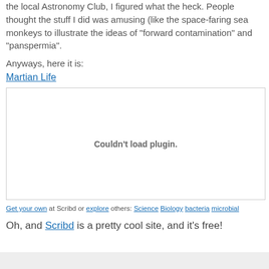the local Astronomy Club, I figured what the heck. People thought the stuff I did was amusing (like the space-faring sea monkeys to illustrate the ideas of "forward contamination" and "panspermia".
Anyways, here it is:
Martian Life
[Figure (other): Embedded plugin area showing 'Couldn't load plugin.' message]
Get your own at Scribd or explore others: Science Biology bacteria microbial
Oh, and Scribd is a pretty cool site, and it's free!